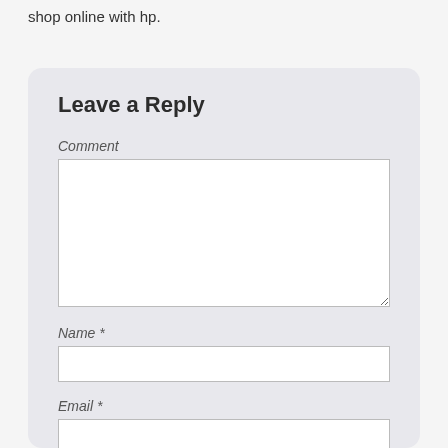shop online with hp.
Leave a Reply
Comment
Name *
Email *